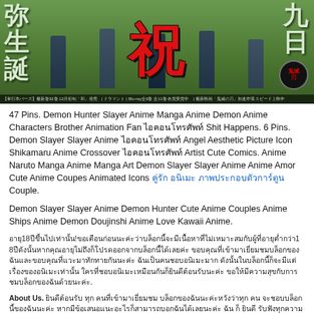[Figure (illustration): Demon Slayer anime banner with Japanese characters showing birthday celebration. Large red kanji '祝' in center, vertical kanji on left and right sides reading '誕生' and '九日', anime characters in dark robes on green background, Demon Slayer logo badge bottom right.]
47 Pins. Demon Hunter Slayer Anime Manga Anime Demon Anime Characters Brother Animation Fan ไอคอนโทรศัพท์ Shit Happens. 6 Pins. Demon Slayer Slayer Anime ไอคอนโทรศัพท์ Angel Aesthetic Picture Icon Shikamaru Anime Crossover ไอคอนโทรศัพท์ Artist Cute Comics. Anime Naruto Manga Anime Manga Art Demon Slayer Slayer Anime Anime Amor Cute Anime Coupes Animated Icons คู่รัก อนิเมะ ภาพประกอบตัวการ์ตูน Couple.
Demon Slayer Slayer Anime Demon Hunter Cute Anime Couples Anime Ships Anime Demon Doujinshi Anime Love Kawaii Anime.
อายุ18ปีขึ้นไปเท่านั้น!ขอเตือนก่อนนะค่ะว่าบล็อกนี้จะมีเนื้อหาที่ไม่เหมาะสมกับผู้ที่อายุต่ำกว่า1​8ปีดังนั้นหากคุณอายุไม่ถึงก็โปรดออกจากบล็อกนี้ได้เลยค่ะ ขอบคุณที่เข้ามาเยี่ยมชมบล็อกของฉันและขอบคุณที่แวะมาทักทายกันนะค่ะ ฉันเป็นคนชอบอนิเมะมาก ดังนั้นในบล็อกนี้ก็จะมีแต่เรื่องของอนิเมะเท่านั้น ใครที่ชอบอนิเมะเหมือนกันก็ยินดีต้อนรับนะค่ะ ขอให้มีความสุขกับการชมบล็อกของฉันด้วยนะค่ะ.
About Us. ยินดีต้อนรับ ทุก คนที่เข้ามาเยี่ยมชม บล็อกของฉันนะค่ะหวังว่าทุก คน จะชอบบล็อกนี้ของฉันนะค่ะ หากมีข้อเสนอแนะอะไรก็สามารถบอกฉันได้เลยนะค่ะ ฉัน ก็ ยินดี รับฟังทุกความคิดเห็นของทุกคนนะค่ะ… ♀.